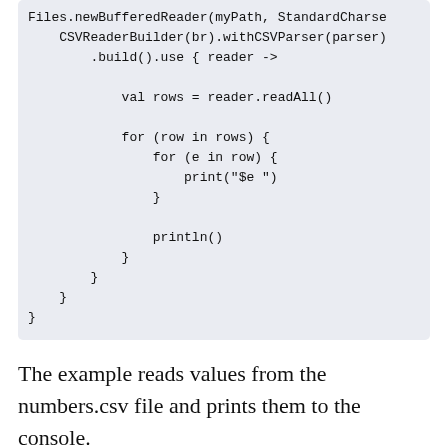[Figure (other): Code block showing Kotlin/Scala code snippet reading CSV with CSVReaderBuilder, iterating rows and printing values]
The example reads values from the numbers.csv file and prints them to the console.